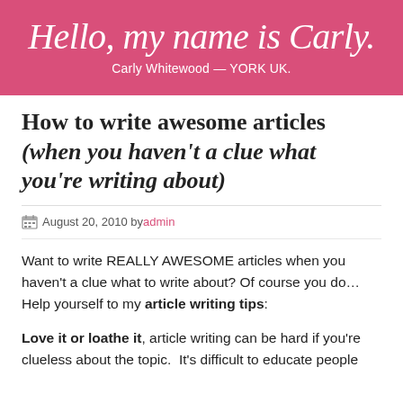Hello, my name is Carly.
Carly Whitewood — YORK UK.
How to write awesome articles (when you haven't a clue what you're writing about)
August 20, 2010 by admin
Want to write REALLY AWESOME articles when you haven't a clue what to write about? Of course you do… Help yourself to my article writing tips:
Love it or loathe it, article writing can be hard if you're clueless about the topic.  It's difficult to educate people